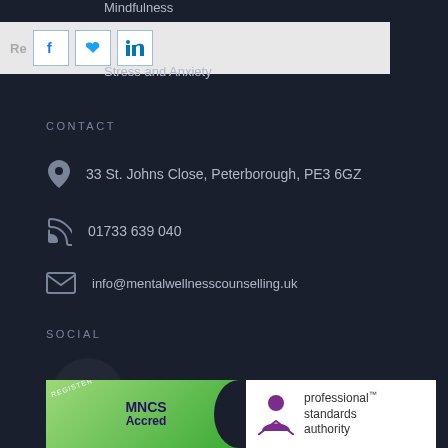Mindfulness
[Figure (infographic): Social share bar with Facebook, Twitter, and LinkedIn icon buttons on light grey background, with partial text 'Re...bu...']
Stress and Anxiety
CONTACT
33 St. Johns Close, Peterborough, PE3 6GZ
01733 639 040
info@mentalwellnesscounselling.uk
SOCIAL
[Figure (logo): Facebook logo white 'f' on dark circle background]
[Figure (logo): Bottom accreditation bar showing MNCS Accred logo on green background and Professional Standards Authority logo]